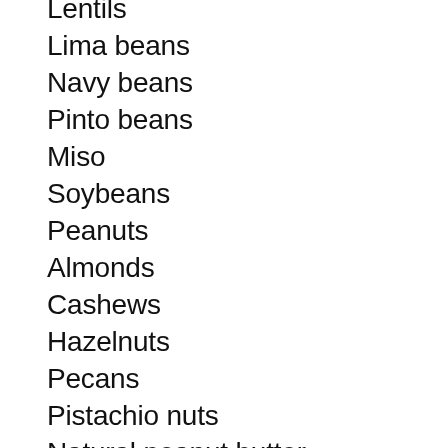Lentils
Lima beans
Navy beans
Pinto beans
Miso
Soybeans
Peanuts
Almonds
Cashews
Hazelnuts
Pecans
Pistachio nuts
Natural peanut butter
Pumpkin seeds
Sunflower seeds